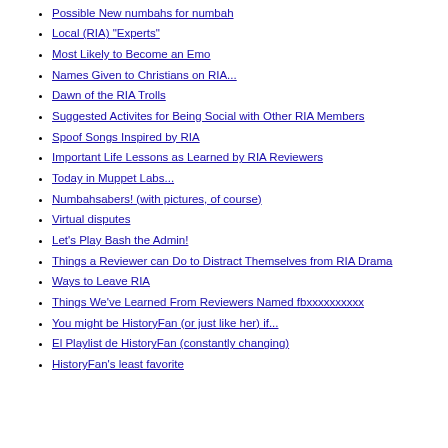Ways to Make Money
Possible New numbahs for numbah
Local (RIA) "Experts"
Most Likely to Become an Emo
Names Given to Christians on RIA...
Dawn of the RIA Trolls
Suggested Activites for Being Social with Other RIA Members
Spoof Songs Inspired by RIA
Important Life Lessons as Learned by RIA Reviewers
Today in Muppet Labs...
Numbahsabers! (with pictures, of course)
Virtual disputes
Let's Play Bash the Admin!
Things a Reviewer can Do to Distract Themselves from RIA Drama
Ways to Leave RIA
Things We've Learned From Reviewers Named fbxxxxxxxxxx
You might be HistoryFan (or just like her) if...
El Playlist de HistoryFan (constantly changing)
HistoryFan's least favorite